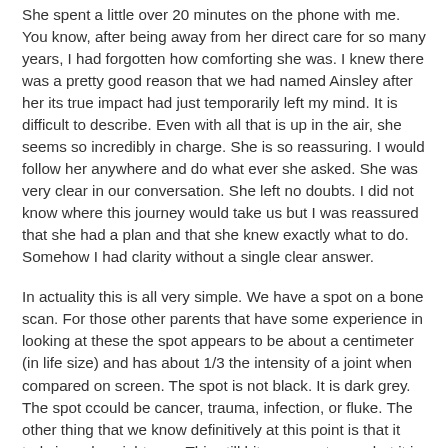She spent a little over 20 minutes on the phone with me. You know, after being away from her direct care for so many years, I had forgotten how comforting she was. I knew there was a pretty good reason that we had named Ainsley after her its true impact had just temporarily left my mind. It is difficult to describe. Even with all that is up in the air, she seems so incredibly in charge. She is so reassuring. I would follow her anywhere and do what ever she asked. She was very clear in our conversation. She left no doubts. I did not know where this journey would take us but I was reassured that she had a plan and that she knew exactly what to do. Somehow I had clarity without a single clear answer.
In actuality this is all very simple. We have a spot on a bone scan. For those other parents that have some experience in looking at these the spot appears to be about a centimeter (in life size) and has about 1/3 the intensity of a joint when compared on screen. The spot is not black. It is dark grey. The spot ccould be cancer, trauma, infection, or fluke. The other thing that we know definitively at this point is that it truly is on her right arm. This still hits me as strange but it is something I have come to terms with. We do not believe that